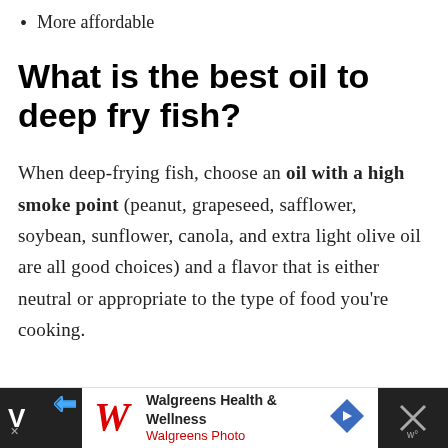More affordable
What is the best oil to deep fry fish?
When deep-frying fish, choose an oil with a high smoke point (peanut, grapeseed, safflower, soybean, sunflower, canola, and extra light olive oil are all good choices) and a flavor that is either neutral or appropriate to the type of food you're cooking.
[Figure (screenshot): Walgreens Health & Wellness advertisement banner with Walgreens logo, navigation arrow icon, and close icon on dark strips on left and right]